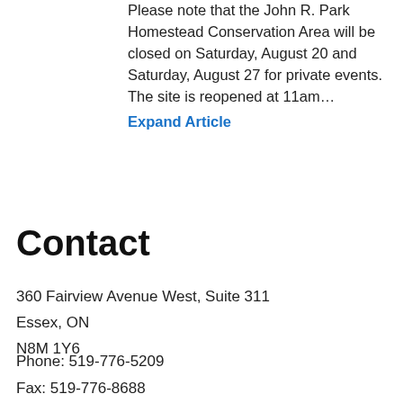Please note that the John R. Park Homestead Conservation Area will be closed on Saturday, August 20 and Saturday, August 27 for private events. The site is reopened at 11am…
Expand Article
Contact
360 Fairview Avenue West, Suite 311
Essex, ON
N8M 1Y6
Phone: 519-776-5209
Fax: 519-776-8688